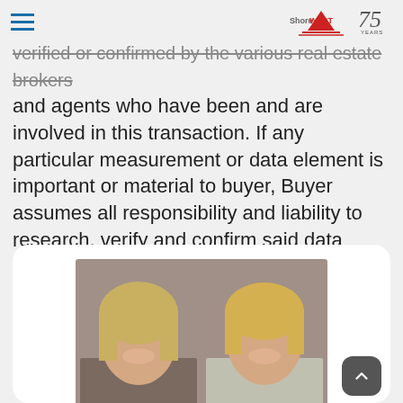ShoreWest 75 Years
verified or confirmed by the various real estate brokers and agents who have been and are involved in this transaction. If any particular measurement or data element is important or material to buyer, Buyer assumes all responsibility and liability to research, verify and confirm said data element and measurement. REALTOR *MLS* Equal Housing Opportunity
[Figure (photo): Portrait photo of two smiling blonde women against a gray background, shown from shoulders up. They are real estate agents.]